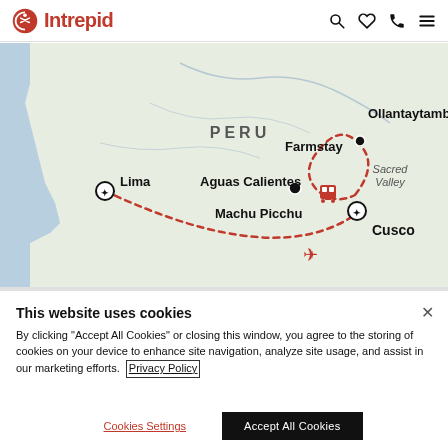Intrepid
[Figure (map): Map of Peru showing tour route with dotted red lines connecting Lima, Aguas Calientes, Machu Picchu, Farmstay, Ollantaytambo, Sacred Valley, and Cusco. Red dashed lines indicate travel routes including a flight icon and train icon.]
This website uses cookies
By clicking "Accept All Cookies" or closing this window, you agree to the storing of cookies on your device to enhance site navigation, analyze site usage, and assist in our marketing efforts. Privacy Policy